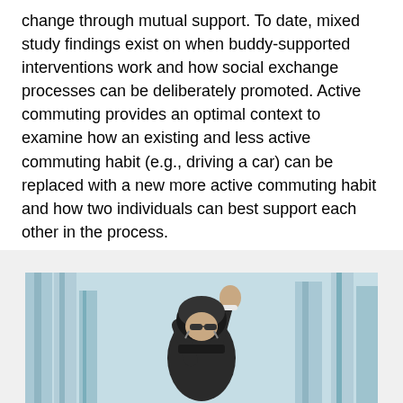change through mutual support. To date, mixed study findings exist on when buddy-supported interventions work and how social exchange processes can be deliberately promoted. Active commuting provides an optimal context to examine how an existing and less active commuting habit (e.g., driving a car) can be replaced with a new more active commuting habit and how two individuals can best support each other in the process.
In HASCI-1 and HASCI-1plus1, a new active commuting habit is encouraged. Find out what the focus of the sub-studies are!
[Figure (photo): A cyclist wearing a helmet and raising their fist, photographed in front of a building with a blue-tinted background.]